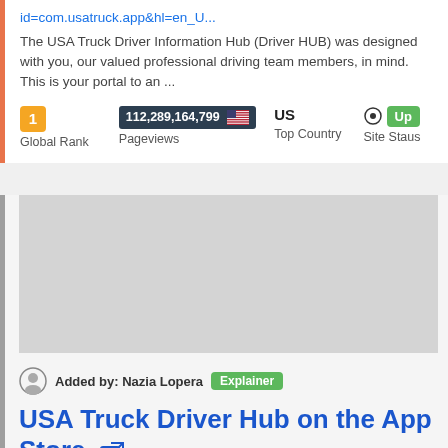id=com.usatruck.app&hl=en_U...
The USA Truck Driver Information Hub (Driver HUB) was designed with you, our valued professional driving team members, in mind. This is your portal to an ...
| Global Rank | Pageviews | Top Country | Site Staus |
| --- | --- | --- | --- |
| 1 | 112,289,164,799 🇺🇸 | US | ⊙ Up |
[Figure (screenshot): Gray preview area placeholder for website screenshot]
Added by: Nazia Lopera  Explainer
USA Truck Driver Hub on the App Store